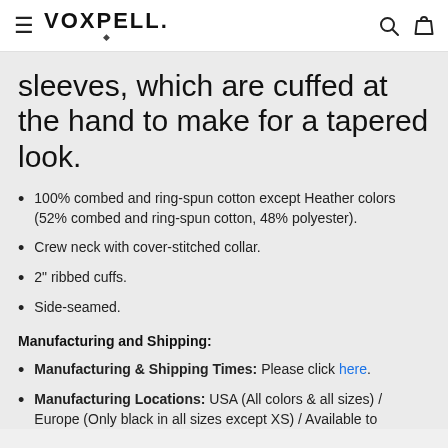VOXPELL.
sleeves, which are cuffed at the hand to make for a tapered look.
100% combed and ring-spun cotton except Heather colors (52% combed and ring-spun cotton, 48% polyester).
Crew neck with cover-stitched collar.
2" ribbed cuffs.
Side-seamed.
Manufacturing and Shipping:
Manufacturing & Shipping Times: Please click here.
Manufacturing Locations: USA (All colors & all sizes) / Europe (Only black in all sizes except XS) / Available to